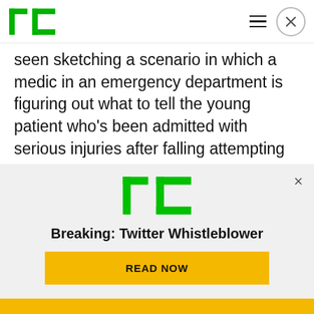TechCrunch
seen sketching a scenario in which a medic in an emergency department is figuring out what to tell the young patient who's been admitted with serious injuries after falling attempting to imitate some parkour they saw in an online video but without having the necessary skills to pull off the tricks safely — and putting heavy emphasis on making kids think before they attempt something similarly ...
[Figure (logo): TechCrunch logo in notification banner]
Breaking: Twitter Whistleblower
READ NOW